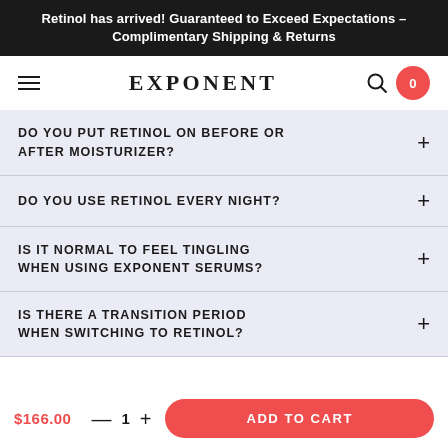Retinol has arrived! Guaranteed to Exceed Expectations – Complimentary Shipping & Returns
[Figure (screenshot): Navigation bar with hamburger menu, EXPONENT logo, search icon, and red cart badge showing 0]
DO YOU PUT RETINOL ON BEFORE OR AFTER MOISTURIZER?
DO YOU USE RETINOL EVERY NIGHT?
IS IT NORMAL TO FEEL TINGLING WHEN USING EXPONENT SERUMS?
IS THERE A TRANSITION PERIOD WHEN SWITCHING TO RETINOL?
$166.00  —  1  +  ADD TO CART